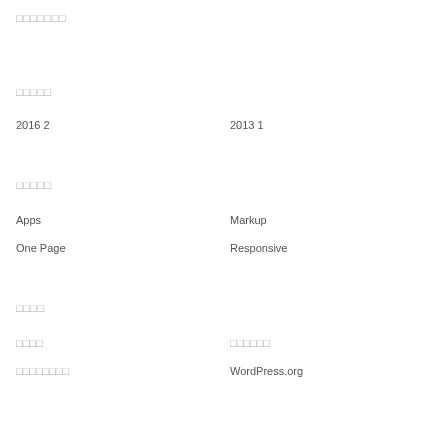□□□□□□□
□□□□□
2016  2
2013  1
□□□□□
Apps
Markup
One Page
Responsive
□□□□
□□□□
□□□□□□
□□□□□□□□
WordPress.org